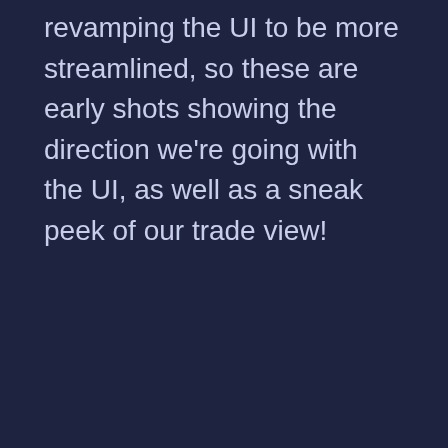revamping the UI to be more streamlined, so these are early shots showing the direction we're going with the UI, as well as a sneak peek of our trade view!